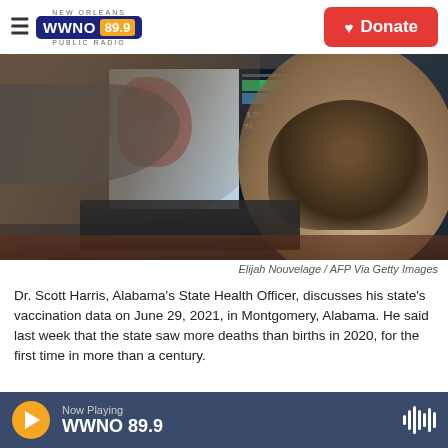WWNO 89.9 | NEW ORLEANS PUBLIC RADIO — Donate
[Figure (photo): A person pointing at a computer screen displaying COVID-19 vaccination data and a map. The screen shows numbers including 1,851, 144,538, 76,718, and 2,677,3[...]. Seen from behind.]
Elijah Nouvelage / AFP Via Getty Images
Dr. Scott Harris, Alabama's State Health Officer, discusses his state's vaccination data on June 29, 2021, in Montgomery, Alabama. He said last week that the state saw more deaths than births in 2020, for the first time in more than a century.
Now Playing WWNO 89.9